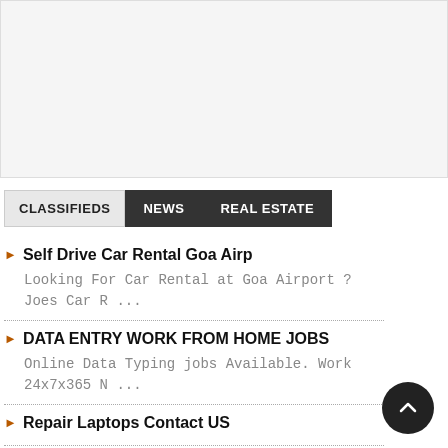[Figure (other): Advertisement placeholder box with light gray background]
CLASSIFIEDS | NEWS | REAL ESTATE
Self Drive Car Rental Goa Airp — Looking For Car Rental at Goa Airport ? Joes Car R ...
DATA ENTRY WORK FROM HOME JOBS — Online Data Typing jobs Available. Work 24x7x365 N ...
Repair Laptops Contact US